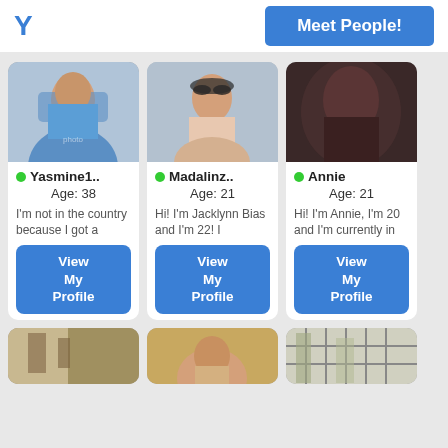Y  Meet People!
[Figure (photo): Profile photo of Yasmine1, woman in blue shirt]
● Yasmine1.. Age: 38
I'm not in the country because I got a
View My Profile
[Figure (photo): Profile photo of Madalinz, woman in car with sunglasses]
● Madalinz.. Age: 21
Hi! I'm Jacklynn Bias and I'm 22! I
View My Profile
[Figure (photo): Profile photo of Annie, dark blurred photo]
● Annie Age: 21
Hi! I'm Annie, I'm 20 and I'm currently in
View My Profile
[Figure (photo): Bottom row profile photo 1]
[Figure (photo): Bottom row profile photo 2]
[Figure (photo): Bottom row profile photo 3]